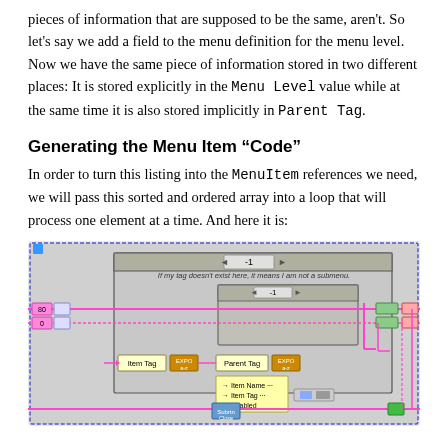pieces of information that are supposed to be the same, aren't. So let's say we add a field to the menu definition for the menu level. Now we have the same piece of information stored in two different places: It is stored explicitly in the Menu Level value while at the same time it is also stored implicitly in Parent Tag.
Generating the Menu Item “Code”
In order to turn this listing into the MenuItem references we need, we will pass this sorted and ordered array into a loop that will process one element at a time. And here it is:
[Figure (screenshot): A LabVIEW block diagram showing a loop structure with pink wires, case structures, and nodes including 'Item Tag', 'Parent Tag', 'Item Name', 'Enabled' fields. The diagram contains a case structure with the label 'If my tag doesn't exist here, it means I am not a submenu.' and nested case structures with -1 selectors.]